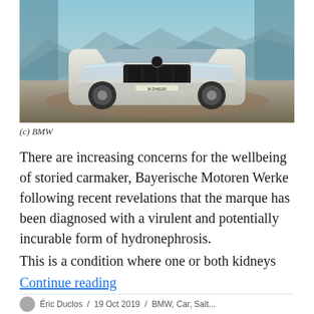[Figure (photo): Front view of a white BMW SUV (X7) on a rocky/desert terrain with mountains in the background and reflective glass panels on the sides.]
(c) BMW
There are increasing concerns for the wellbeing of storied carmaker, Bayerische Motoren Werke following recent revelations that the marque has been diagnosed with a virulent and potentially incurable form of hydronephrosis.
This is a condition where one or both kidneys
Continue reading
Éric Duclos / 19 Oct 2019 / BMW, Car, Salt...